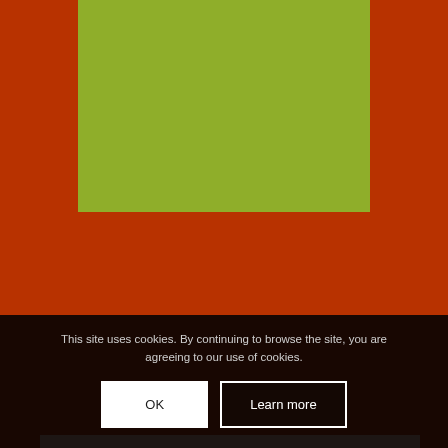[Figure (photo): Green rectangle image area at top of page, olive/lime green color]
Take a Tour
If you would like to view our nursery please call the nursery manager on 01895 347440 and we will be happy to arrange a time that suits.
This site uses cookies. By continuing to browse the site, you are agreeing to our use of cookies.
OK
Learn more